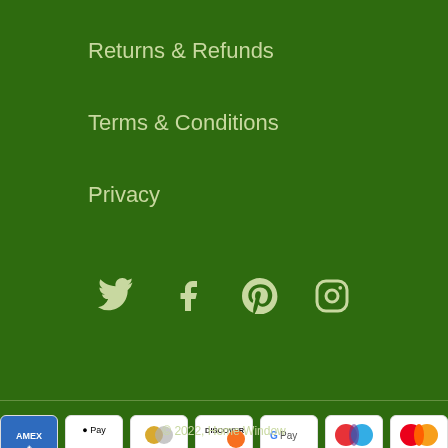Returns & Refunds
Terms & Conditions
Privacy
[Figure (infographic): Social media icons: Twitter, Facebook, Pinterest, Instagram in light green on dark green background]
[Figure (infographic): Payment method badges: American Express, Apple Pay, Diners Club, Discover, Google Pay, Maestro, Mastercard, PayPal, Shop Pay, Visa]
© 2022, Home Window